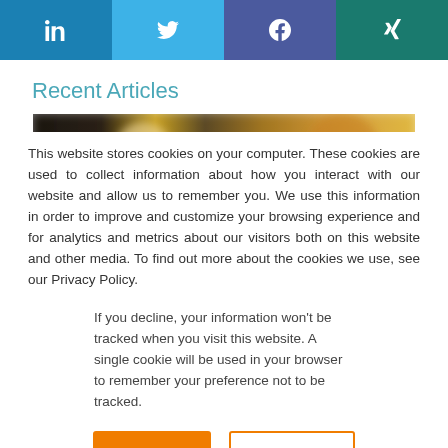[Figure (other): Social media share buttons: LinkedIn (blue), Twitter (light blue), Facebook (dark blue/purple), Xing (teal)]
Recent Articles
[Figure (photo): Blurred warm-toned article thumbnail image with dark and golden/amber bokeh tones]
This website stores cookies on your computer. These cookies are used to collect information about how you interact with our website and allow us to remember you. We use this information in order to improve and customize your browsing experience and for analytics and metrics about our visitors both on this website and other media. To find out more about the cookies we use, see our Privacy Policy.
If you decline, your information won't be tracked when you visit this website. A single cookie will be used in your browser to remember your preference not to be tracked.
Accept | Decline